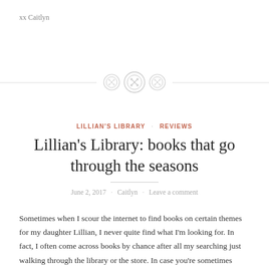xx Caitlyn
[Figure (illustration): Decorative divider with three button-like circular icons (two smaller on sides, one larger in center with crosshatch pattern) flanked by dashed horizontal lines]
LILLIAN'S LIBRARY · REVIEWS
Lillian's Library: books that go through the seasons
June 2, 2017 · Caitlyn · Leave a comment
Sometimes when I scour the internet to find books on certain themes for my daughter Lillian, I never quite find what I'm looking for. In fact, I often come across books by chance after all my searching just walking through the library or the store. In case you're sometimes doing similar investigating, I decided to start a series on books that Lillian is reading